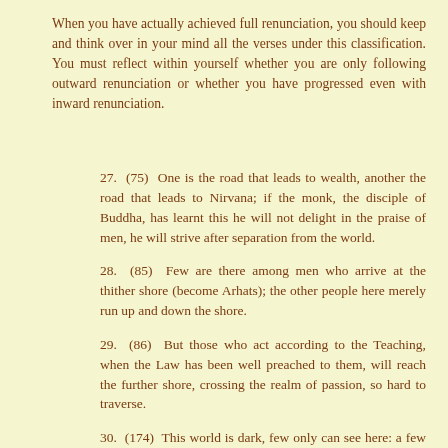When you have actually achieved full renunciation, you should keep and think over in your mind all the verses under this classification. You must reflect within yourself whether you are only following outward renunciation or whether you have progressed even with inward renunciation.
27. (75) One is the road that leads to wealth, another the road that leads to Nirvana; if the monk, the disciple of Buddha, has learnt this he will not delight in the praise of men, he will strive after separation from the world.
28. (85) Few are there among men who arrive at the thither shore (become Arhats); the other people here merely run up and down the shore.
29. (86) But those who act according to the Teaching, when the Law has been well preached to them, will reach the further shore, crossing the realm of passion, so hard to traverse.
30. (174) This world is dark, few only can see here: a few only go to heaven, like birds escaped from the net.
31. (7) He who lives looking for pleasure only, his senses uncontrolled, immoderate in his food,